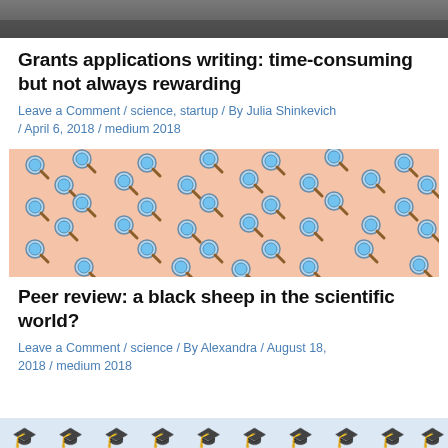[Figure (photo): Top partial image, dark/grey tones, top of page]
Grants applications writing: time-consuming but not always rewarding
Leave a Comment / science, startup / By Julia Shinkevich / April 6, 2018 / medium 2018
[Figure (illustration): Salmon/peach background filled with a repeating pattern of magnifying glass emoji icons arranged in rows]
Peer review: a black sheep in the scientific world?
Leave a Comment / science / By Alexandra / August 18, 2018 / medium 2018
[Figure (illustration): Bottom partial banner with graduation cap emoji icons on light blue background]